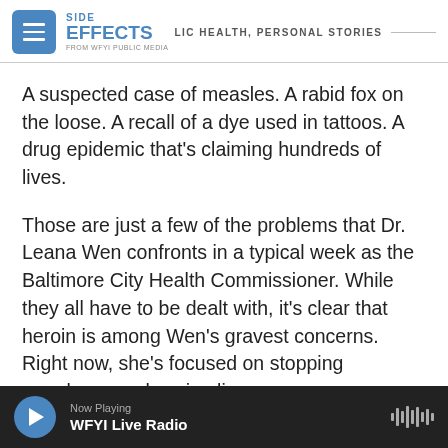SIDE EFFECTS — PUBLIC HEALTH, PERSONAL STORIES — FROM WFYI PUBLIC MEDIA
A suspected case of measles. A rabid fox on the loose. A recall of a dye used in tattoos. A drug epidemic that's claiming hundreds of lives.
Those are just a few of the problems that Dr. Leana Wen confronts in a typical week as the Baltimore City Health Commissioner. While they all have to be dealt with, it's clear that heroin is among Wen's gravest concerns. Right now, she's focused on stopping overdoses and saving lives.
There were 104 overdose deaths in Baltimore during the first quarter of 2015, a 40 percent
Now Playing — WFYI Live Radio